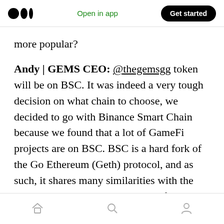Open in app | Get started
more popular?
Andy | GEMS CEO: @thegemsgg token will be on BSC. It was indeed a very tough decision on what chain to choose, we decided to go with Binance Smart Chain because we found that a lot of GameFi projects are on BSC. BSC is a hard fork of the Go Ethereum (Geth) protocol, and as such, it shares many similarities with the Ethereum blockchain. Ultimately for our NFT rental marketplace will need sustainable low gas fees, hence the another vital decision to choose BSC.
Home | Search | Profile